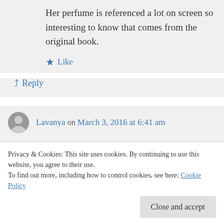Her perfume is referenced a lot on screen so interesting to know that comes from the original book.
Like
Reply
Lavanya on March 3, 2016 at 6:41 am
I owned ‘Lady in the Lake’ for years without reading it. I read it only after learning of the
Privacy & Cookies: This site uses cookies. By continuing to use this website, you agree to their use.
To find out more, including how to control cookies, see here: Cookie Policy